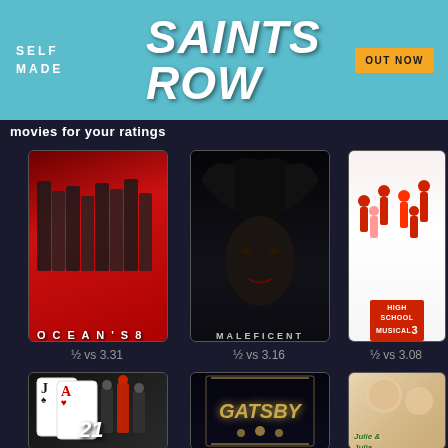[Figure (screenshot): Advertisement banner for Saints Row video game — teal background with 'SELF MADE' text on left, large 'SAINTS ROW' title, orange 'OUT NOW' badge]
movies for your ratings
[Figure (photo): Ocean's 8 movie poster — red background with group of people in dark clothing, white text 'OCEAN'S 8']
[Figure (photo): Maleficent movie poster — dark background with horned figure, text 'MALEFICENT']
[Figure (photo): High School Musical 3 movie poster — white background with cast jumping, HSM3 logo]
½ vs 3.31
½ vs 3.16
½ vs 3.08
[Figure (photo): 21 movie poster — playing cards theme with '21' text]
[Figure (photo): The Great Gatsby movie poster — golden art deco 'GATSBY' text]
[Figure (photo): Julie & Julia movie poster — warm tones with 'Julie & Julia' script text]